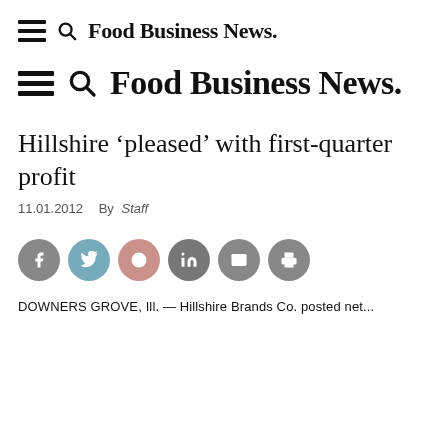Food Business News.
Food Business News.
Hillshire ‘pleased’ with first-quarter profit
11.01.2012  By Staff
[Figure (infographic): Row of 6 circular social media share buttons: Facebook (grey), Twitter (blue-grey), Reddit (mauve/pink), LinkedIn (grey), Email (grey), Print (grey)]
DOWNERS GROVE, Ill. — Hillshire Brands Co. posted net...